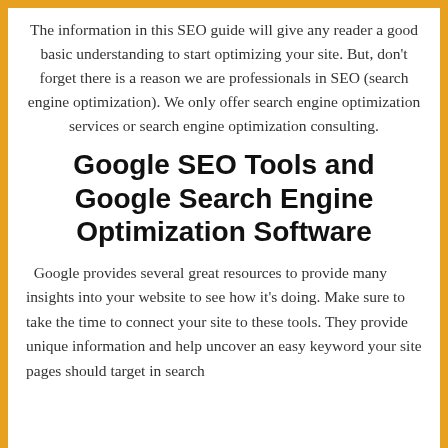The information in this SEO guide will give any reader a good basic understanding to start optimizing your site. But, don't forget there is a reason we are professionals in SEO (search engine optimization). We only offer search engine optimization services or search engine optimization consulting.
Google SEO Tools and Google Search Engine Optimization Software
Google provides several great resources to provide many insights into your website to see how it's doing. Make sure to take the time to connect your site to these tools. They provide unique information and help uncover an easy keyword your site pages should target in search